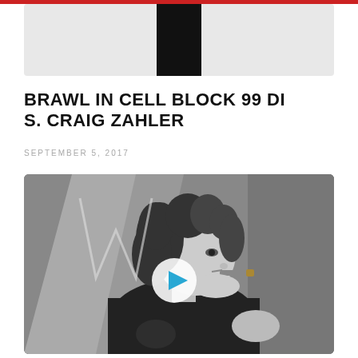[Figure (photo): Top partial image showing a light gray background with a black rectangular element in the center, appears to be a cropped header image]
BRAWL IN CELL BLOCK 99 DI S. CRAIG ZAHLER
SEPTEMBER 5, 2017
[Figure (photo): Black and white photograph of a man with curly shoulder-length hair smoking a cigar, wearing a black t-shirt, shown in profile facing right. A circular play button overlay is centered on the image indicating a video thumbnail.]